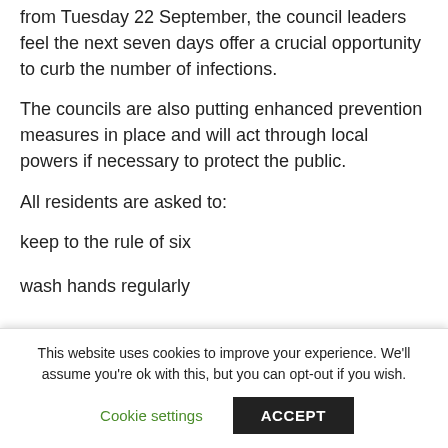from Tuesday 22 September, the council leaders feel the next seven days offer a crucial opportunity to curb the number of infections.
The councils are also putting enhanced prevention measures in place and will act through local powers if necessary to protect the public.
All residents are asked to:
keep to the rule of six
wash hands regularly
This website uses cookies to improve your experience. We'll assume you're ok with this, but you can opt-out if you wish.
Cookie settings | ACCEPT